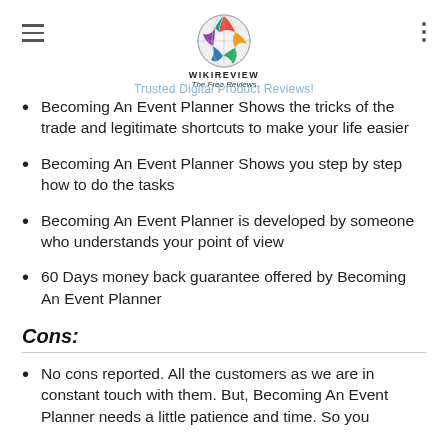WIKIREVIEW The Free Reviews - Trusted Digital Product Reviews!
Becoming An Event Planner Shows the tricks of the trade and legitimate shortcuts to make your life easier
Becoming An Event Planner Shows you step by step how to do the tasks
Becoming An Event Planner is developed by someone who understands your point of view
60 Days money back guarantee offered by Becoming An Event Planner
Cons:
No cons reported. All the customers as we are in constant touch with them. But, Becoming An Event Planner needs a little patience and time. So you